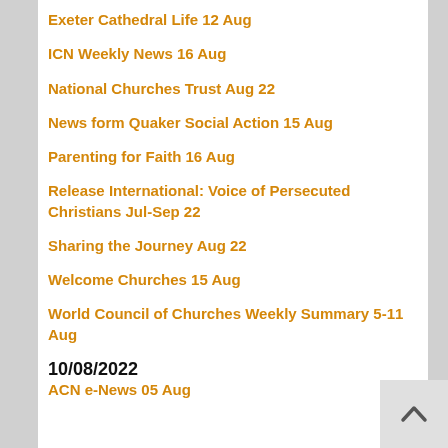Exeter Cathedral Life 12 Aug
ICN Weekly News 16 Aug
National Churches Trust Aug 22
News form Quaker Social Action 15 Aug
Parenting for Faith 16 Aug
Release International: Voice of Persecuted Christians Jul-Sep 22
Sharing the Journey Aug 22
Welcome Churches 15 Aug
World Council of Churches Weekly Summary 5-11 Aug
10/08/2022
ACN e-News 05 Aug